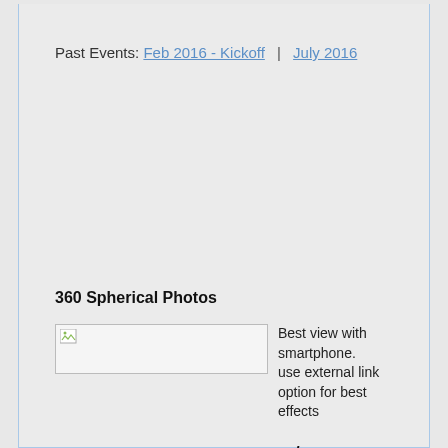Past Events: Feb 2016 - Kickoff | July 2016
360 Spherical Photos
[Figure (photo): Broken image placeholder for a 360 spherical photo]
Best view with smartphone. use external link option for best effects
why use smartphone
Virtual Reality effect, turn device at